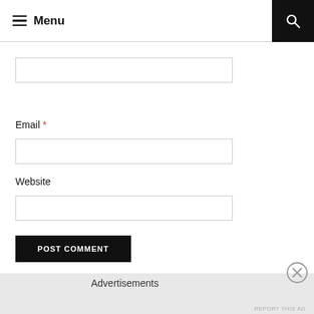Menu
Email *
Website
POST COMMENT
Advertisements
REPORT THIS AD